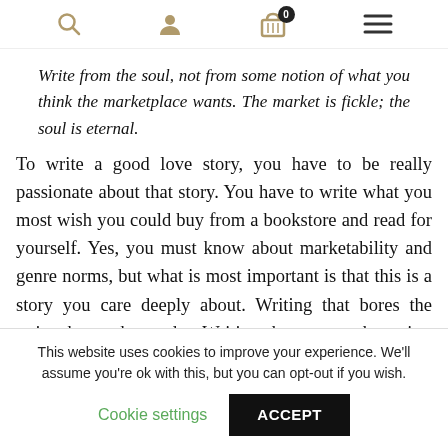[Navigation bar with search, user, cart (0), and menu icons]
Write from the soul, not from some notion of what you think the marketplace wants. The market is fickle; the soul is eternal.
To write a good love story, you have to be really passionate about that story. You have to write what you most wish you could buy from a bookstore and read for yourself. Yes, you must know about marketability and genre norms, but what is most important is that this is a story you care deeply about. Writing that bores the writer bores the reader. Writing that moves the writer moves
This website uses cookies to improve your experience. We'll assume you're ok with this, but you can opt-out if you wish.
Cookie settings    ACCEPT